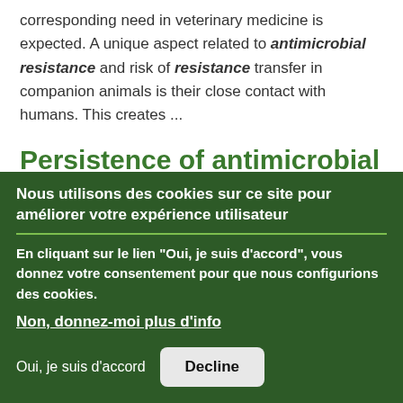corresponding need in veterinary medicine is expected. A unique aspect related to antimicrobial resistance and risk of resistance transfer in companion animals is their close contact with humans. This creates ...
Persistence of antimicrobial resistance in respiratory streptococci.
Nous utilisons des cookies sur ce site pour améliorer votre expérience utilisateur
En cliquant sur le lien "Oui, je suis d'accord", vous donnez votre consentement pour que nous configurions des cookies.
Non, donnez-moi plus d'info
Oui, je suis d'accord   Decline